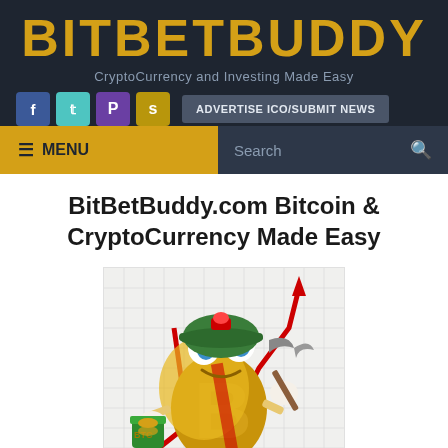BITBETBUDDY
CryptoCurrency and Investing Made Easy
BitBetBuddy.com Bitcoin & CryptoCurrency Made Easy
[Figure (illustration): Cartoon mascot: anthropomorphic Bitcoin symbol character wearing a green miner's helmet, holding a bucket of coins, and holding a pickaxe, with a red upward arrow chart in the background on a grid pattern]